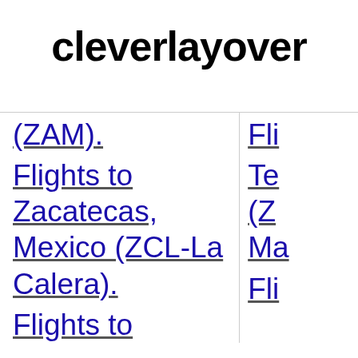cleverlayover
(ZAM).
Flights to Zacatecas, Mexico (ZCL-La Calera).
Flights to
Fli Te (Z Ma
Fli